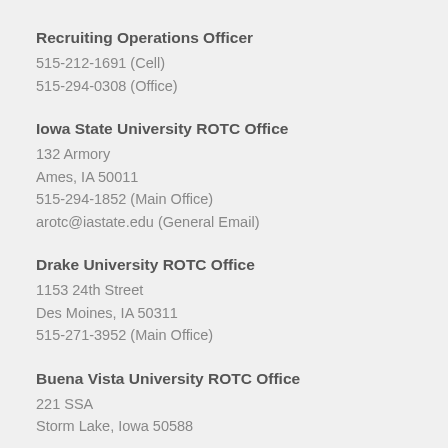Recruiting Operations Officer
515-212-1691 (Cell)
515-294-0308 (Office)
Iowa State University ROTC Office
132 Armory
Ames, IA 50011
515-294-1852 (Main Office)
arotc@iastate.edu (General Email)
Drake University ROTC Office
1153 24th Street
Des Moines, IA 50311
515-271-3952 (Main Office)
Buena Vista University ROTC Office
221 SSA
Storm Lake, Iowa 50588